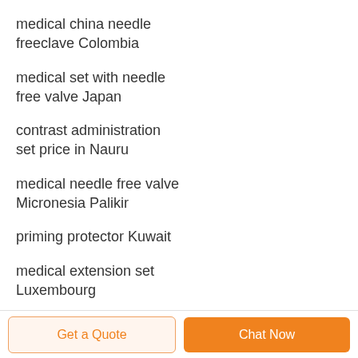medical china needle freeclave Colombia
medical set with needle free valve Japan
contrast administration set price in Nauru
medical needle free valve Micronesia Palikir
priming protector Kuwait
medical extension set Luxembourg
iv infusion set for adult for sale in north america
Get a Quote   Chat Now